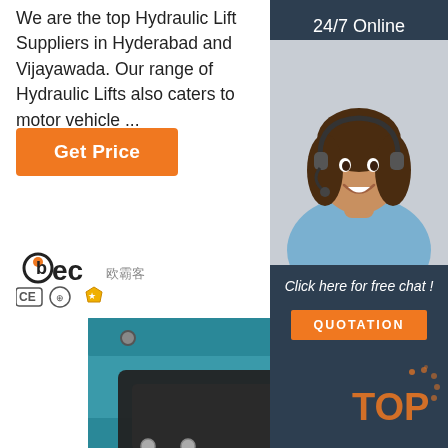We are the top Hydraulic Lift Suppliers in Hyderabad and Vijayawada. Our range of Hydraulic Lifts also caters to motor vehicle ...
Get Price
24/7 Online
[Figure (photo): Customer service agent with headset, smiling, used as 24/7 online chat widget photo]
Click here for free chat !
QUOTATION
[Figure (logo): BEC logo with Chinese characters and CE, certification, gold star badge icons]
[Figure (photo): Close-up photo of a hydraulic lift mechanism showing blue metal frame and black tray component]
[Figure (other): TOP badge/watermark in orange with dot pattern]